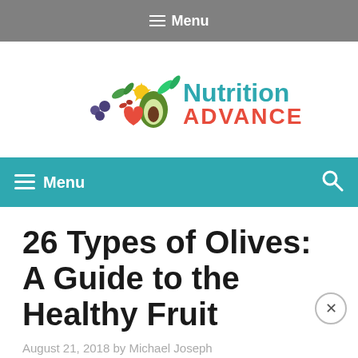Menu
[Figure (logo): Nutrition Advance logo with colorful fruits and vegetables illustration, teal 'Nutrition' text and red 'ADVANCE' text]
Menu
26 Types of Olives: A Guide to the Healthy Fruit
August 21, 2018 by Michael Joseph